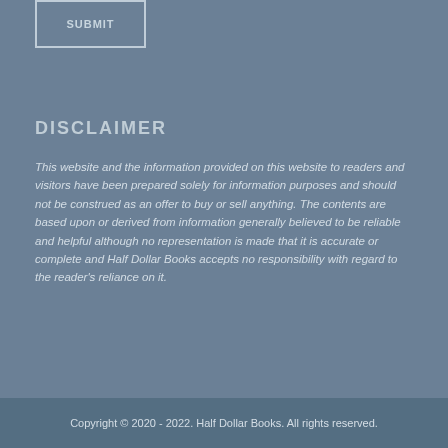SUBMIT
DISCLAIMER
This website and the information provided on this website to readers and visitors have been prepared solely for information purposes and should not be construed as an offer to buy or sell anything. The contents are based upon or derived from information generally believed to be reliable and helpful although no representation is made that it is accurate or complete and Half Dollar Books accepts no responsibility with regard to the reader's reliance on it.
Copyright © 2020 - 2022. Half Dollar Books. All rights reserved.